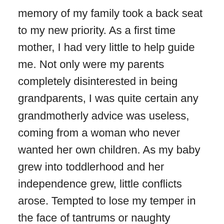memory of my family took a back seat to my new priority. As a first time mother, I had very little to help guide me. Not only were my parents completely disinterested in being grandparents, I was quite certain any grandmotherly advice was useless, coming from a woman who never wanted her own children. As my baby grew into toddlerhood and her independence grew, little conflicts arose. Tempted to lose my temper in the face of tantrums or naughty behaviour, I always stopped myself with one thought, “What would my parents do?” A very twisted version of What Would Jesus Do…whatever the answer, I made a deliberate choice to do the OPPOSITE. My parents would have spanked a toddler who drew on the walls, spanked a child who wanted to wear her underwear on the outside of her pants, spanked a child who talked back. My father always told us that children were